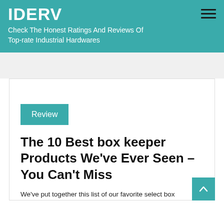IDERV
Check The Honest Ratings And Reviews Of Top-rate Industrial Hardwares
Review
The 10 Best box keeper Products We've Ever Seen – You Can't Miss
We've put together this list of our favorite select box